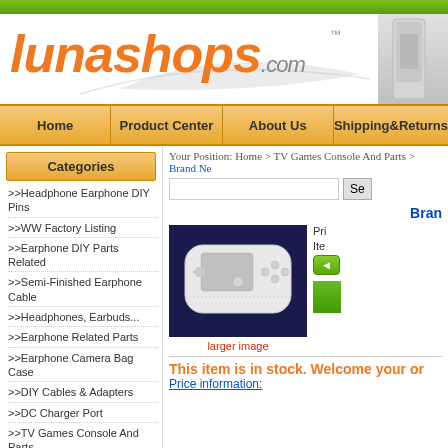[Figure (logo): lunashops.com logo in orange italic text with TM mark and decorative swoosh, plus PS3 console image on right]
Home | Product Center | About Us | Shipping&Returns
Categories
>>Headphone Earphone DIY Pins
>>WW Factory Listing
>>Earphone DIY Parts Related
>>Semi-Finished Earphone Cable
>>Headphones, Earbuds...
>>Earphone Related Parts
>>Earphone Camera Bag Case
>>DIY Cables & Adapters
>>DC Charger Port
>>TV Games Console And Parts
>>Dustproof Adapters
>>USB VGA DIY Adapter etc.
>>Computer Related Parts
>>CopperColour Seires
>>Ipad Tablet Related Parts
Your Position: Home > TV Games Console And Parts > Brand Ne...
[Figure (photo): White PSP handheld gaming console on dark blue background]
larger image
Brand N...
Pri...
Ite...
This item is in stock. Welcome your o...
Price information: